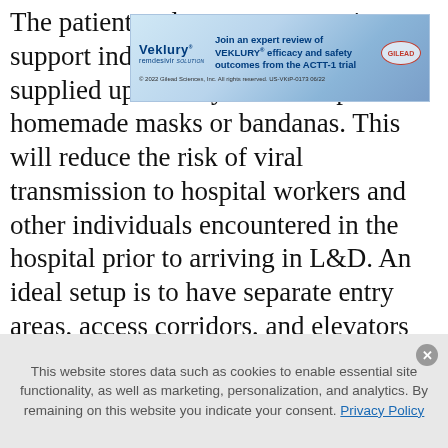The patient and one accompanying support individual... masks (surgical masks supplied upon entry to the hospital or homemade masks or bandanas. This will reduce the risk of viral transmission to hospital workers and other individuals encountered in the hospital prior to arriving in L&D. An ideal setup is to have separate entry areas, access corridors, and elevators for patients known or suspected to have COVID-19 infection. The patient and visitor should be expeditiously escorted to the prepared area for evaluation. Patients who are not known or suspected to be infected ideally should be tested.
[Figure (infographic): Veklury (remdesivir) advertisement banner by Gilead Sciences. Text reads: 'Join an expert review of VEKLURY efficacy and safety outcomes from the ACTT-1 trial'. Footer: '© 2022 Gilead Sciences, Inc. All rights reserved. US-VKtP-0173 06/22'. Gilead logo at right.]
This website stores data such as cookies to enable essential site functionality, as well as marketing, personalization, and analytics. By remaining on this website you indicate your consent. Privacy Policy